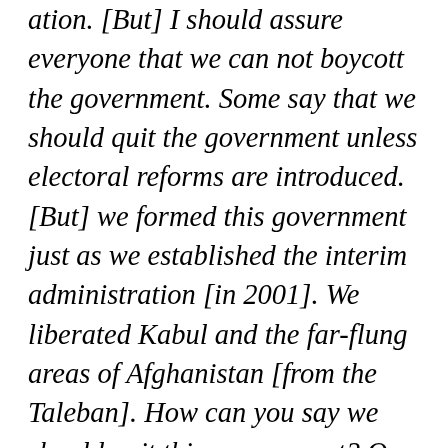uation. [But] I should assure everyone that we can not boycott the government. Some say that we should quit the government unless electoral reforms are introduced. [But] we formed this government just as we established the interim administration [in 2001]. We liberated Kabul and the far-flung areas of Afghanistan [from the Taleban]. How can you say we should quit this government? Our leader Ustad [Burhanuddin Rabbani], who was the head of the state for 10 years [1992-2002] and who suffered serious problems following the martyrdom of [Ahmad Shah Massud], did not enter the presidential palace. Instead, he established his office in another building and said he did not come to